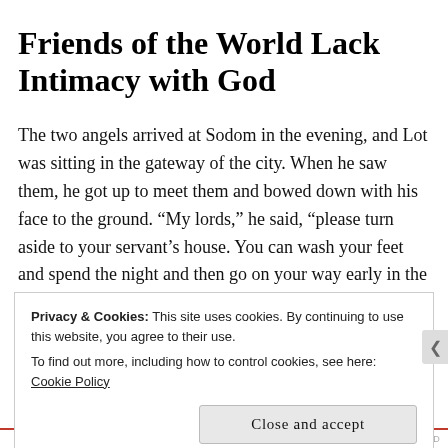Friends of the World Lack Intimacy with God
The two angels arrived at Sodom in the evening, and Lot was sitting in the gateway of the city. When he saw them, he got up to meet them and bowed down with his face to the ground. “My lords,” he said, “please turn aside to your servant’s house. You can wash your feet and spend the night and then go on your way early in the morning.” “No,” they answered, “we will spend the night in the square.” But he insisted so strongly that they did go with
Privacy & Cookies: This site uses cookies. By continuing to use this website, you agree to their use.
To find out more, including how to control cookies, see here: Cookie Policy